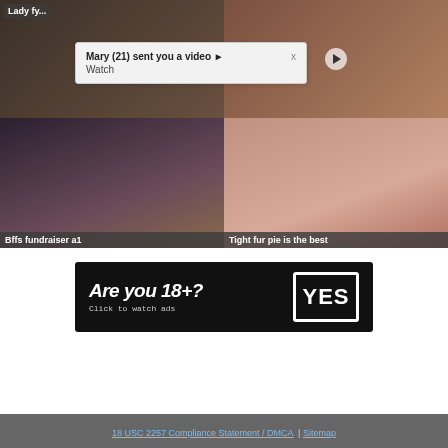[Figure (screenshot): Video thumbnail grid showing adult content thumbnails with labels]
Lady fy...
Mary (21) sent you a video ▶ Watch
Bffs fundraiser a1
Tight fur pie is the best
[Figure (infographic): Are you 18+? Click to watch ads YES button banner]
18 USC 2257 Compliance Statement / DMCA | Sitemap